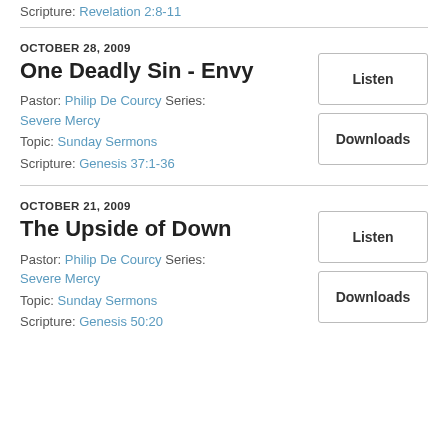Scripture: Revelation 2:8-11
OCTOBER 28, 2009
One Deadly Sin - Envy
Pastor: Philip De Courcy Series: Severe Mercy
Topic: Sunday Sermons
Scripture: Genesis 37:1-36
Listen
Downloads
OCTOBER 21, 2009
The Upside of Down
Pastor: Philip De Courcy Series: Severe Mercy
Topic: Sunday Sermons
Scripture: Genesis 50:20
Listen
Downloads